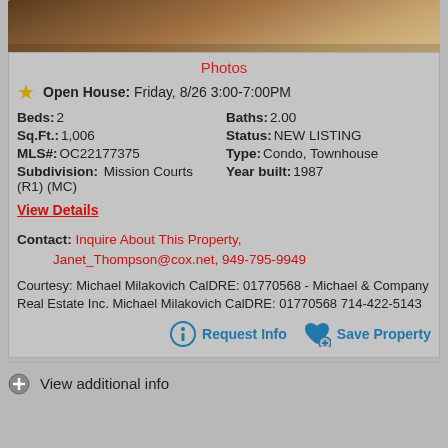[Figure (photo): Partial view of a wood-toned interior ceiling/hallway photo strip at the top of the listing card]
Photos
Open House: Friday, 8/26 3:00-7:00PM
Beds: 2
Baths: 2.00
Sq.Ft.: 1,006
Status: NEW LISTING
MLS#: OC22177375
Type: Condo, Townhouse
Subdivision: Mission Courts (R1) (MC)
Year built: 1987
View Details
Contact: Inquire About This Property, Janet_Thompson@cox.net, 949-795-9949
Courtesy: Michael Milakovich CalDRE: 01770568 - Michael & Company Real Estate Inc. Michael Milakovich CalDRE: 01770568 714-422-5143
Request Info
Save Property
View additional info